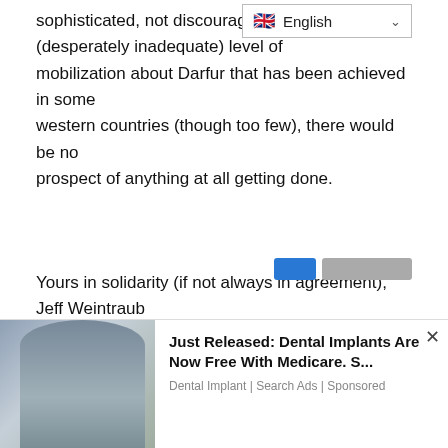sophisticated, not discourage it. (desperately inadequate) level of mobilization about Darfur that has been achieved in some western countries (though too few), there would be no prospect of anything at all getting done.
[Figure (screenshot): Language selector dropdown showing English with UK flag icon]
Yours in solidarity (if not always in agreement),
Jeff Weintraub
← Previous Article
Darfur's Emerging Arab Leader under Government Assault
[Figure (screenshot): Advertisement overlay at bottom of page: photo of woman, ad text 'Just Released: Dental Implants Are Now Free With Medicare. S...' with attribution 'Dental Implant | Search Ads | Sponsored' and close button]